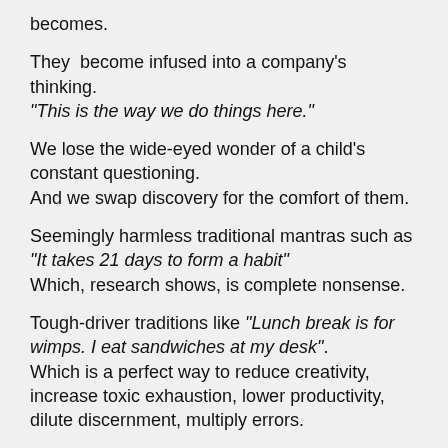becomes.
They  become infused into a company's thinking. “This is the way we do things here.”
We lose the wide-eyed wonder of a child's constant questioning.
And we swap discovery for the comfort of them.
Seemingly harmless traditional mantras such as “It takes 21 days to form a habit”
Which, research shows, is complete nonsense.
Tough-driver traditions like “Lunch break is for wimps. I eat sandwiches at my desk”.
Which is a perfect way to reduce creativity, increase toxic exhaustion, lower productivity, dilute discernment, multiply errors.